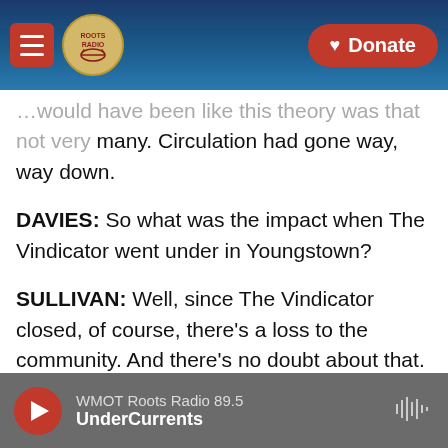Roots Radio | WMOT — Donate
...would have been like this theory was that not very many. Circulation had gone way, way down.
DAVIES: So what was the impact when The Vindicator went under in Youngstown?
SULLIVAN: Well, since The Vindicator closed, of course, there's a loss to the community. And there's no doubt about that. And people are feeling it. But there have been some things that have kind of come in to help to fill the gap a little bit. There is a new digital-only organization that McClatchy and Google are involved in called Mahoning Matters, with - the Mahoning Valley is the larger area around
WMOT Roots Radio 89.5 | UnderCurrents